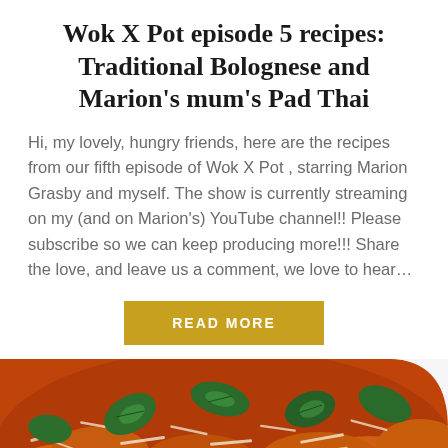Wok X Pot episode 5 recipes: Traditional Bolognese and Marion's mum's Pad Thai
Hi, my lovely, hungry friends, here are the recipes from our fifth episode of Wok X Pot , starring Marion Grasby and myself. The show is currently streaming on my (and on Marion's) YouTube channel!! Please subscribe so we can keep producing more!!! Share the love, and leave us a comment, we love to hear...
READ MORE
[Figure (photo): Close-up photo of a dish of pasta or gnocchi in tomato sauce topped with grated parmesan cheese and fresh green basil leaves, in a white bowl with blue rim]